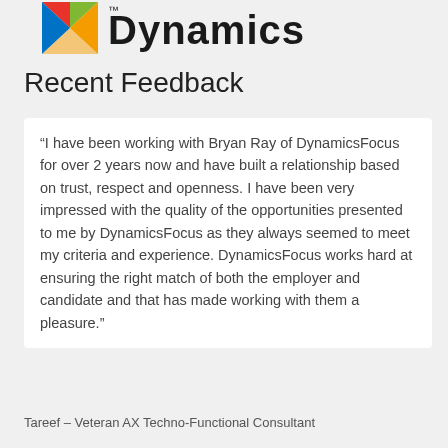[Figure (logo): Microsoft Dynamics logo — colorful flag-style graphic on the left and 'Dynamics' text in dark color on the right]
Recent Feedback
“I have been working with Bryan Ray of DynamicsFocus for over 2 years now and have built a relationship based on trust, respect and openness. I have been very impressed with the quality of the opportunities presented to me by DynamicsFocus as they always seemed to meet my criteria and experience. DynamicsFocus works hard at ensuring the right match of both the employer and candidate and that has made working with them a pleasure.”
Tareef – Veteran AX Techno-Functional Consultant